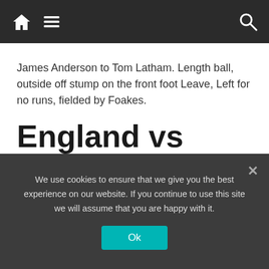[Navigation bar with home icon, menu icon, and search icon]
James Anderson to Tom Latham. Length ball, outside off stump on the front foot Leave, Left for no runs, fielded by Foakes.
England vs New Zealand
1.6
Stuart Broad to Will Young. Length ball, outside off
We use cookies to ensure that we give you the best experience on our website. If you continue to use this site we will assume that you are happy with it.